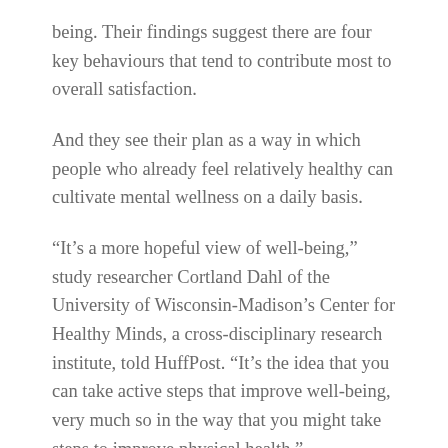being. Their findings suggest there are four key behaviours that tend to contribute most to overall satisfaction.
And they see their plan as a way in which people who already feel relatively healthy can cultivate mental wellness on a daily basis.
“It’s a more hopeful view of well-being,” study researcher Cortland Dahl of the University of Wisconsin-Madison’s Center for Healthy Minds, a cross-disciplinary research institute, told HuffPost. “It’s the idea that you can take active steps that improve well-being, very much so in the way that you might take steps to improve physical health.”
Of course anyone grappling with severe stress, anxiety,